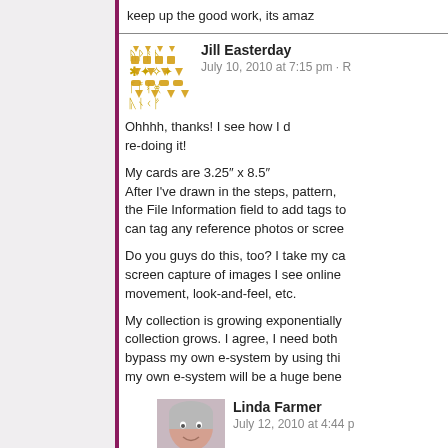keep up the good work, its amaz
Jill Easterday
July 10, 2010 at 7:15 pm · R
Ohhhh, thanks! I see how I d re-doing it!

My cards are 3.25" x 8.5"
After I've drawn in the steps, pattern, the File Information field to add tags to can tag any reference photos or scree

Do you guys do this, too? I take my ca screen capture of images I see online movement, look-and-feel, etc.

My collection is growing exponentially collection grows. I agree, I need both bypass my own e-system by using thi my own e-system will be a huge bene
Linda Farmer
July 12, 2010 at 4:44 p
That's an unusual phys 3.5" width is the width/height of a choice?